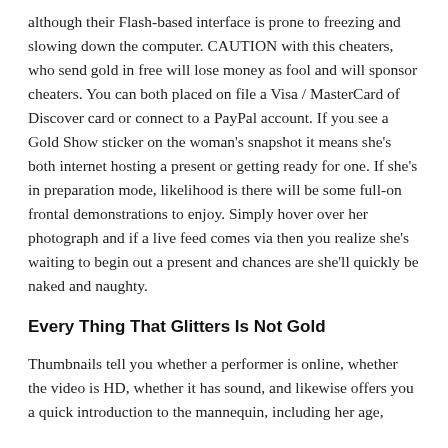although their Flash-based interface is prone to freezing and slowing down the computer. CAUTION with this cheaters, who send gold in free will lose money as fool and will sponsor cheaters. You can both placed on file a Visa / MasterCard of Discover card or connect to a PayPal account. If you see a Gold Show sticker on the woman's snapshot it means she's both internet hosting a present or getting ready for one. If she's in preparation mode, likelihood is there will be some full-on frontal demonstrations to enjoy. Simply hover over her photograph and if a live feed comes via then you realize she's waiting to begin out a present and chances are she'll quickly be naked and naughty.
Every Thing That Glitters Is Not Gold
Thumbnails tell you whether a performer is online, whether the video is HD, whether it has sound, and likewise offers you a quick introduction to the mannequin, including her age,